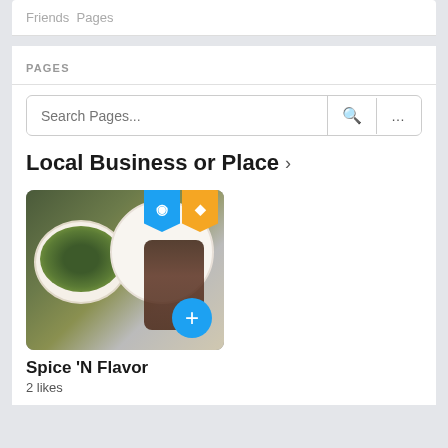Friends  Pages
PAGES
Search Pages...
Local Business or Place >
[Figure (photo): Photo of food dishes on plates with two badge icons (blue and orange) and a blue plus button overlay]
Spice 'N Flavor
2 likes